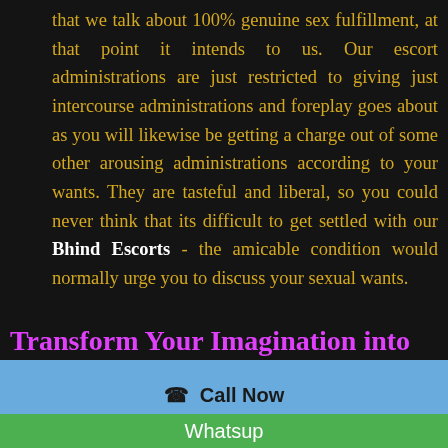that we talk about 100% genuine sex fulfillment, at that point it intends to us. Our escort administrations are just restricted to giving just intercourse administrations and foreplay goes about as you will likewise be getting a charge out of some other arousing administrations according to your wants. They are tasteful and liberal, so you could never think that its difficult to get settled with our Bhind Escorts - the amicable condition would normally urge you to discuss your sexual wants.
Transform Your Imagination into
📞  Call Now
Whatsup